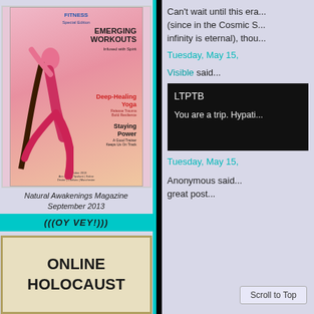[Figure (photo): Cover of Natural Awakenings Magazine September 2013 showing a woman in yoga pose with text: FITNESS Special Edition, EMERGING WORKOUTS Infused with Spirit, Deep-Healing Yoga Release Trauma Build Resilience, Staying Power A Good Trainer Keeps Us On Track]
Natural Awakenings Magazine
September 2013
(((OY VEY!)))
[Figure (photo): Old parchment-style book cover with bold text: ONLINE HOLOCAUST]
Can't wait until this era... (since in the Cosmic S... infinity is eternal), thou...
Tuesday, May 15,
Visible said...
LTPTB

You are a trip. Hypati...
Tuesday, May 15,
Anonymous said...
great post...
Scroll to Top